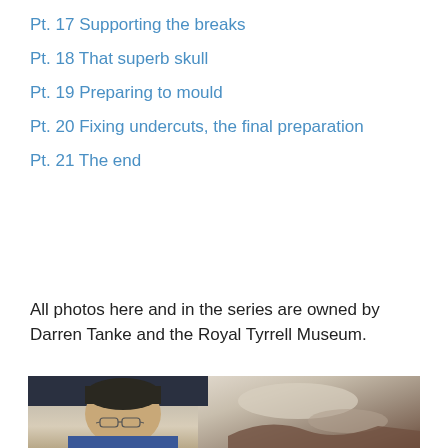Pt. 17 Supporting the breaks
Pt. 18 That superb skull
Pt. 19 Preparing to mould
Pt. 20 Fixing undercuts, the final preparation
Pt. 21 The end
All photos here and in the series are owned by Darren Tanke and the Royal Tyrrell Museum.
[Figure (photo): A man wearing glasses and a blue shirt smiling, leaning over a large fossil or rock specimen in what appears to be a museum laboratory setting.]